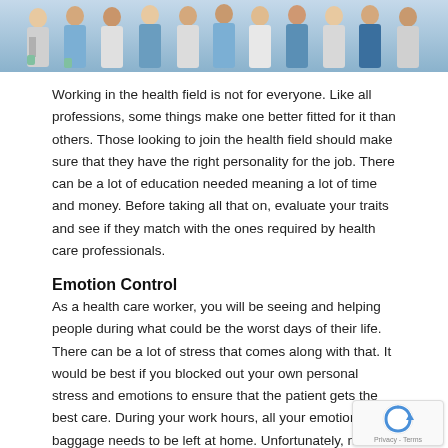[Figure (photo): Group of healthcare professionals in white lab coats and blue scrubs standing together]
Working in the health field is not for everyone. Like all professions, some things make one better fitted for it than others. Those looking to join the health field should make sure that they have the right personality for the job. There can be a lot of education needed meaning a lot of time and money. Before taking all that on, evaluate your traits and see if they match with the ones required by health care professionals.
Emotion Control
As a health care worker, you will be seeing and helping people during what could be the worst days of their life. There can be a lot of stress that comes along with that. It would be best if you blocked out your own personal stress and emotions to ensure that the patient gets the best care. During your work hours, all your emotional baggage needs to be left at home. Unfortunately, not a...